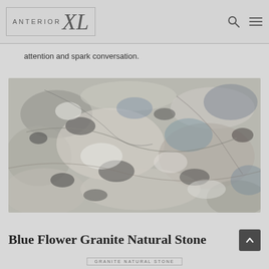ANTERIOR XL
attention and spark conversation.
[Figure (photo): Close-up photograph of Blue Flower Granite Natural Stone showing grey, white, and blue mineral patterns and crystalline texture.]
Blue Flower Granite Natural Stone
GRANITE NATURAL STONE